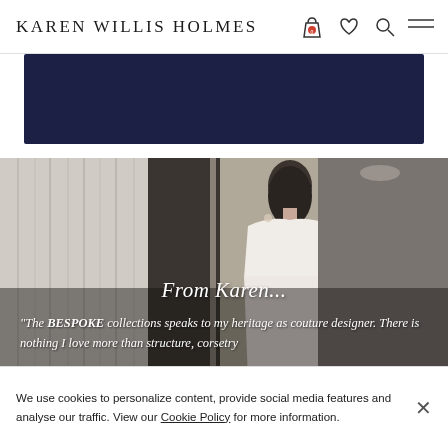KAREN WILLIS HOLMES
[Figure (screenshot): Dark navy blue banner/promotional bar]
[Figure (photo): Bride in white off-shoulder wedding gown standing in a room with curtains, overlaid with text 'From Karen...' and quote about BESPOKE collections]
From Karen...
"The BESPOKE collections speaks to my heritage as couture designer. There is nothing I love more than structure, corsetry
We use cookies to personalize content, provide social media features and analyse our traffic. View our Cookie Policy for more information.